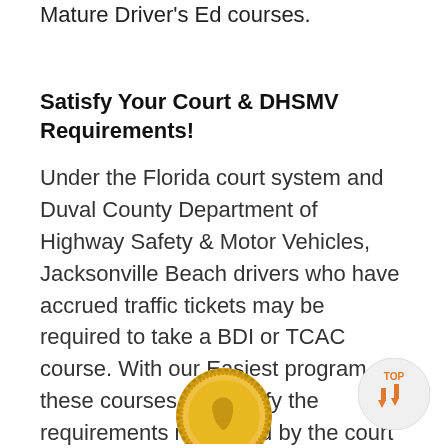Mature Driver's Ed courses.
Satisfy Your Court & DHSMV Requirements!
Under the Florida court system and Duval County Department of Highway Safety & Motor Vehicles, Jacksonville Beach drivers who have accrued traffic tickets may be required to take a BDI or TCAC course. With our Easiest program, these courses will satisfy the requirements mandated by the court and DHSMV and can be taken once a year, up to five times.
[Figure (illustration): Gold seal/medal with state of Florida outline in the center, surrounded by decorative wreath border]
[Figure (other): Circular 'TOP' button with orange upward arrow icons, used for scroll-to-top navigation]